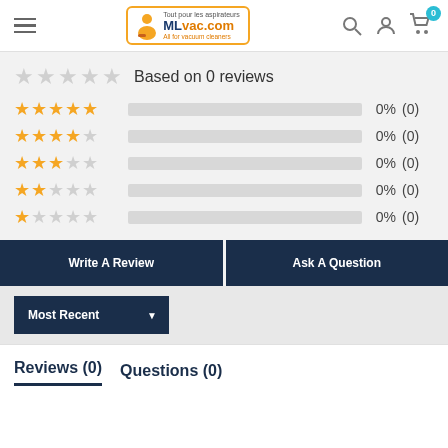[Figure (screenshot): MLvac.com website header with hamburger menu, logo, search icon, user icon, and cart icon with 0 badge]
Based on 0 reviews
5 stars 0% (0)
4 stars 0% (0)
3 stars 0% (0)
2 stars 0% (0)
1 star 0% (0)
Write A Review
Ask A Question
Most Recent
Reviews (0)   Questions (0)